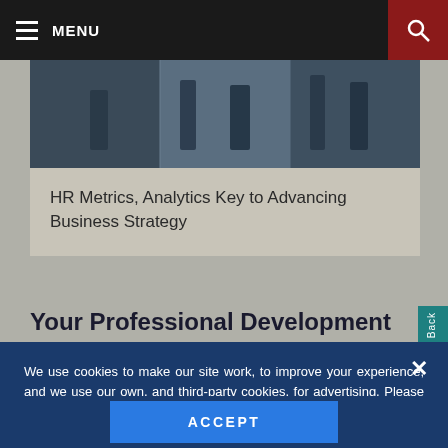MENU
[Figure (photo): Business professionals walking in an office corridor, partial view showing legs and glass walls]
HR Metrics, Analytics Key to Advancing Business Strategy
Your Professional Development
We use cookies to make our site work, to improve your experience, and we use our own, and third-party cookies, for advertising. Please see our Cookie Policy for more information and how to disable them. By clicking accept, or closing the message and continuing to use this site, you agree to our use of cookies.
ACCEPT